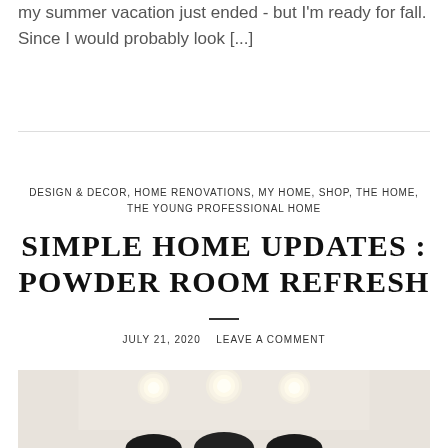my summer vacation just ended - but I'm ready for fall. Since I would probably look [...]
DESIGN & DECOR, HOME RENOVATIONS, MY HOME, SHOP, THE HOME, THE YOUNG PROFESSIONAL HOME
SIMPLE HOME UPDATES : POWDER ROOM REFRESH
JULY 21, 2020   LEAVE A COMMENT
[Figure (photo): Bathroom vanity area with round light bulbs above a mirror, showing a powder room refresh.]